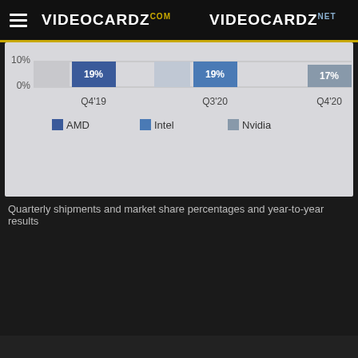VIDEOCARDZ.com  VIDEOCARDZ.net
[Figure (bar-chart): GPU Market Share]
Quarterly shipments and market share percentages and year-to-year results